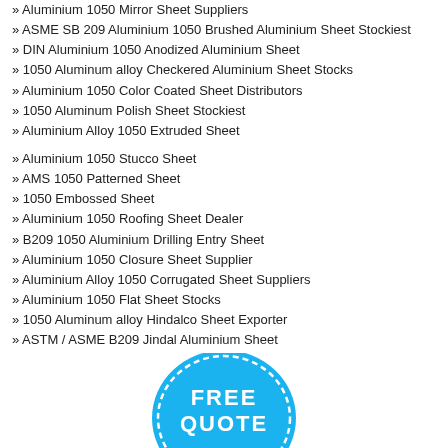» Aluminium 1050 Mirror Sheet Suppliers
» ASME SB 209 Aluminium 1050 Brushed Aluminium Sheet Stockiest
» DIN Aluminium 1050 Anodized Aluminium Sheet
» 1050 Aluminum alloy Checkered Aluminium Sheet Stocks
» Aluminium 1050 Color Coated Sheet Distributors
» 1050 Aluminum Polish Sheet Stockiest
» Aluminium Alloy 1050 Extruded Sheet
» Aluminium 1050 Stucco Sheet
» AMS 1050 Patterned Sheet
» 1050 Embossed Sheet
» Aluminium 1050 Roofing Sheet Dealer
» B209 1050 Aluminium Drilling Entry Sheet
» Aluminium 1050 Closure Sheet Supplier
» Aluminium Alloy 1050 Corrugated Sheet Suppliers
» Aluminium 1050 Flat Sheet Stocks
» 1050 Aluminum alloy Hindalco Sheet Exporter
» ASTM / ASME B209 Jindal Aluminium Sheet
[Figure (illustration): A circular badge in blue with white dashed border and text 'FREE QUOTE' in white bold letters]